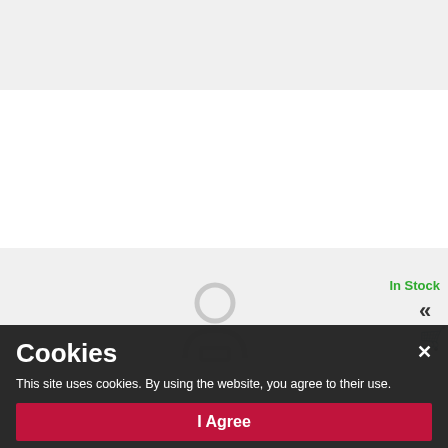[Figure (photo): Product image of a silver necklace with heart letter V and zircons on gray background]
JMAS900VSN45
MINET Silver necklace letter in heart "V" with zircons
23,90 €
[Figure (photo): Second product image area with gray background showing 'In Stock' label and a person icon]
In Stock
Cookies
This site uses cookies. By using the website, you agree to their use.
I Agree